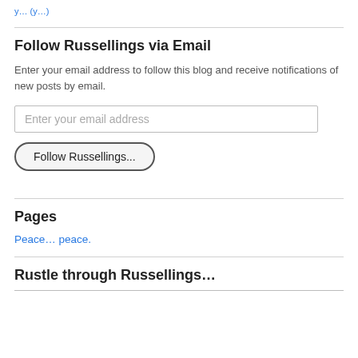y... (y...)
Follow Russellings via Email
Enter your email address to follow this blog and receive notifications of new posts by email.
Enter your email address
Follow Russellings...
Pages
Peace… peace.
Rustle through Russellings…